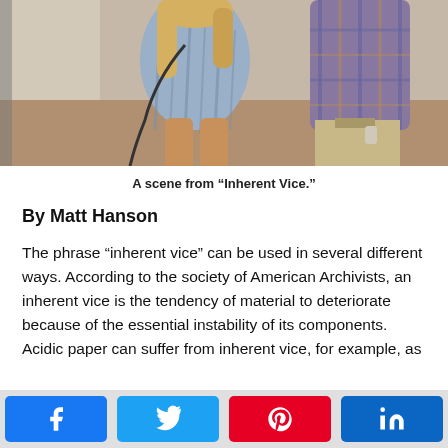[Figure (photo): A scene from the film Inherent Vice showing two people — a woman in a striped shirt and a man in a plaid shirt — standing indoors.]
A scene from “Inherent Vice.”
By Matt Hanson
The phrase “inherent vice” can be used in several different ways. According to the society of American Archivists, an inherent vice is the tendency of material to deteriorate because of the essential instability of its components. Acidic paper can suffer from inherent vice, for example, as